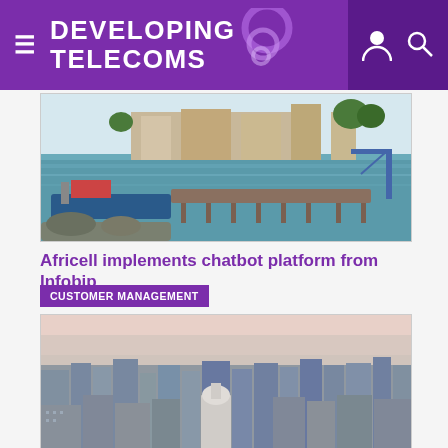DEVELOPING TELECOMS
[Figure (photo): Aerial view of a port/harbor with boats, crane, dock, and waterfront buildings]
Africell implements chatbot platform from Infobip
CUSTOMER MANAGEMENT
[Figure (photo): Aerial panoramic view of a dense urban cityscape with tall buildings at dusk/dawn]